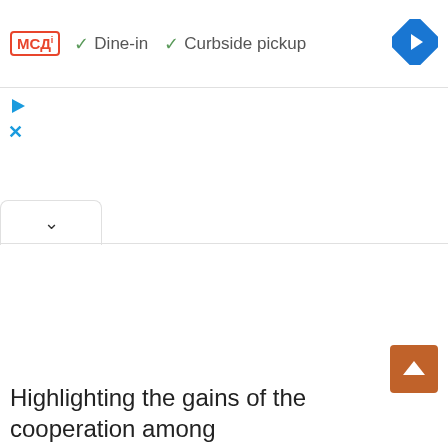[Figure (screenshot): McDonald's logo badge with red border and text 'МСА' with superscript]
✓ Dine-in  ✓ Curbside pickup
[Figure (other): Blue diamond-shaped navigation arrow button pointing right]
[Figure (other): Blue play/triangle icon and blue X icon on left side]
[Figure (other): Tab with caret/chevron up arrow]
[Figure (other): Orange scroll-to-top button with white up arrow]
Highlighting the gains of the cooperation among